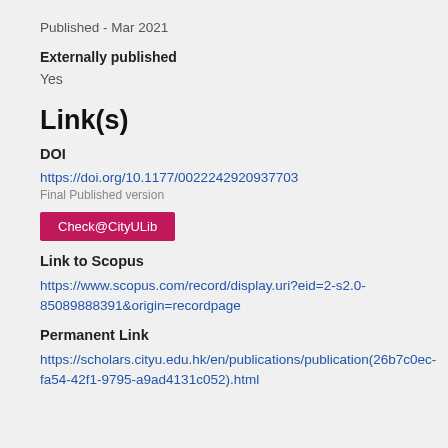Published - Mar 2021
Externally published
Yes
Link(s)
DOI
https://doi.org/10.1177/0022242920937703
Final Published version
Check@CityULib
Link to Scopus
https://www.scopus.com/record/display.uri?eid=2-s2.0-85089888391&origin=recordpage
Permanent Link
https://scholars.cityu.edu.hk/en/publications/publication(26b7c0ec-fa54-42f1-9795-a9ad4131c052).html